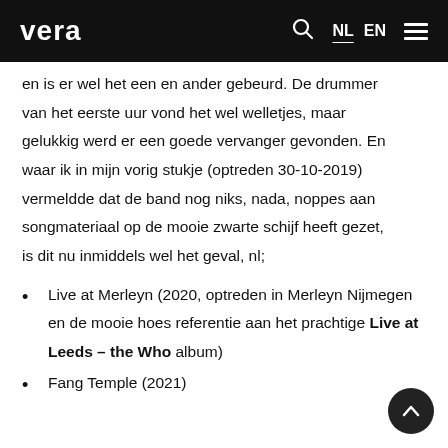vera — NL EN ☰
en is er wel het een en ander gebeurd. De drummer van het eerste uur vond het wel welletjes, maar gelukkig werd er een goede vervanger gevonden. En waar ik in mijn vorig stukje (optreden 30-10-2019) vermeldde dat de band nog niks, nada, noppes aan songmateriaal op de mooie zwarte schijf heeft gezet, is dit nu inmiddels wel het geval, nl;
Live at Merleyn (2020, optreden in Merleyn Nijmegen en de mooie hoes referentie aan het prachtige Live at Leeds – the Who album)
Fang Temple (2021)